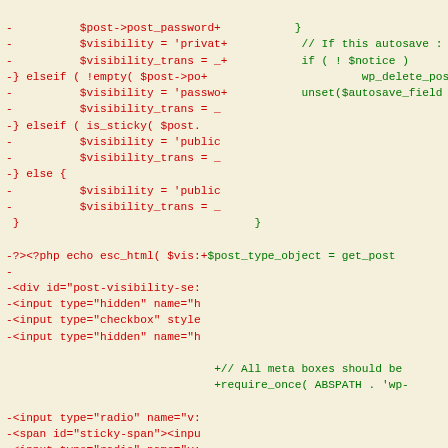[Figure (screenshot): Code diff screenshot showing PHP and HTML code with red lines (removals) and green lines (additions) on a light yellow/cream background. Left column shows removed lines in red, right column shows added lines in green.]